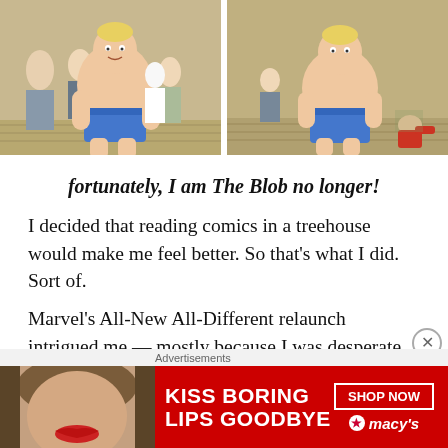[Figure (illustration): Two comic book panels side by side showing a large muscular character (The Blob) in blue shorts among a crowd of people]
fortunately, I am The Blob no longer!
I decided that reading comics in a treehouse would make me feel better. So that’s what I did. Sort of.
Marvel’s All-New All-Different relaunch intrigued me — mostly because I was desperate — and it promised easy fodder for a series of micro-reviews at Longbox Graveyard. So, instead of closing down the blog, I’d force myself to produce daily content through much of the year.
Advertisements
[Figure (photo): Macy's advertisement: KISS BORING LIPS GOODBYE with SHOP NOW button and Macy's star logo, featuring a woman's face with red lips]